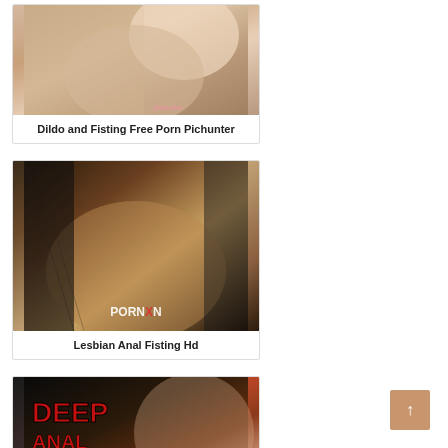[Figure (photo): Thumbnail image card 1 - blonde woman]
Dildo and Fisting Free Porn Pichunter
[Figure (photo): Thumbnail image card 2 - woman in fishnet stockings, PORNXN watermark]
Lesbian Anal Fisting Hd
[Figure (photo): Thumbnail image card 3 - DEEP ANAL FISTING text overlay with woman]